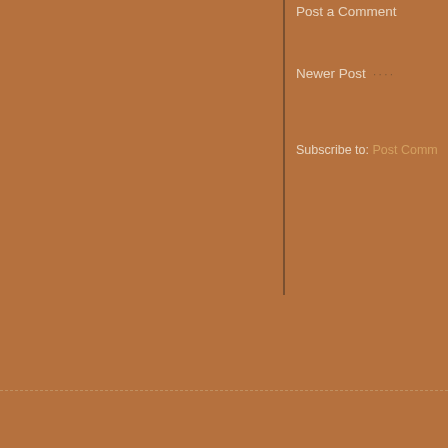Post a Comment
Newer Post · · · ·
Subscribe to: Post Comm
It's Okay
[Figure (illustration): Pink/magenta textured background with overlaid white monospace text quotes attributed to 'Tales of the Wolf Queen 2013'. Text reads: "Everyone gets lost somet..." / "Everyone cries, gets scared and feels in..." / "Everyone gets a little crazy sometimes. Everyo..." / "Everyone gets misunderstood sometimes. Everyo..." / "Everyone talks shit somet..."]